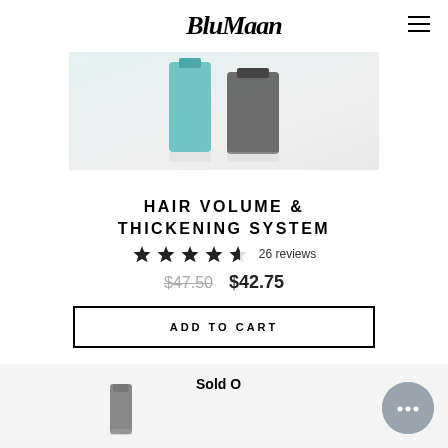BluMaan
[Figure (photo): Product photo showing hair care bottles against light background - teal and dark gray containers]
HAIR VOLUME & THICKENING SYSTEM
26 reviews
$47.50  $42.75
ADD TO CART
Sold O...
[Figure (photo): Partial view of a single hair product bottle/container at bottom of page]
[Figure (other): Chat support button - gray circular button with three dots]